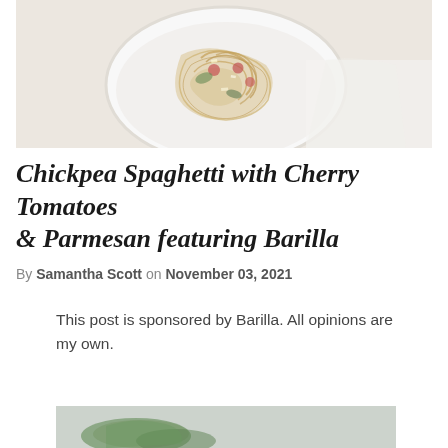[Figure (photo): Overhead view of a white bowl containing chickpea spaghetti with cherry tomatoes and parmesan on a white background]
Chickpea Spaghetti with Cherry Tomatoes & Parmesan featuring Barilla
By Samantha Scott on November 03, 2021
This post is sponsored by Barilla. All opinions are my own.
[Figure (photo): Partially visible food photo, appears to show green vegetables on a light grey background]